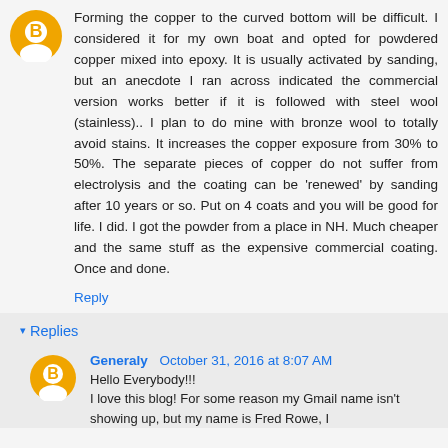Forming the copper to the curved bottom will be difficult. I considered it for my own boat and opted for powdered copper mixed into epoxy. It is usually activated by sanding, but an anecdote I ran across indicated the commercial version works better if it is followed with steel wool (stainless).. I plan to do mine with bronze wool to totally avoid stains. It increases the copper exposure from 30% to 50%. The separate pieces of copper do not suffer from electrolysis and the coating can be 'renewed' by sanding after 10 years or so. Put on 4 coats and you will be good for life. I did. I got the powder from a place in NH. Much cheaper and the same stuff as the expensive commercial coating. Once and done.
Reply
Replies
Generaly  October 31, 2016 at 8:07 AM
Hello Everybody!!! I love this blog! For some reason my Gmail name isn't showing up, but my name is Fred Rowe, I